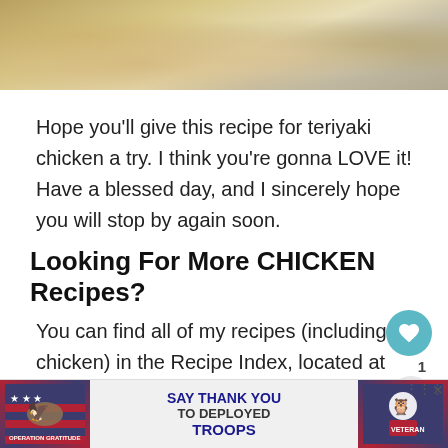[Figure (photo): Close-up photo of teriyaki chicken served over white rice on a plate, partially visible at top of page]
Hope you'll give this recipe for teriyaki chicken a try. I think you're gonna LOVE it! Have a blessed day, and I sincerely hope you will stop by again soon.
Looking For More CHICKEN Recipes?
You can find all of my recipes (including chicken) in the Recipe Index, located at the top of the page. A few of these chicken recipes you might be interested in are:
Honey Garlic Chicken & Veggies
[Figure (infographic): Operation Gratitude advertisement banner: Say Thank You to Deployed Troops, with patriotic imagery including eagle, stars, and flag motif. Close button visible.]